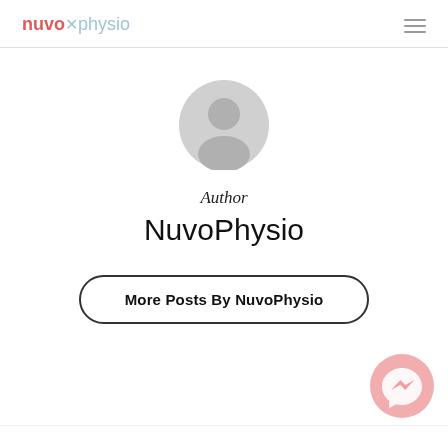nuvo physio
[Figure (illustration): Generic grey user avatar/profile icon circle]
Author
NuvoPhysio
More Posts By NuvoPhysio
[Figure (illustration): Facebook Messenger chat bubble icon, pink/salmon colored, bottom right corner]